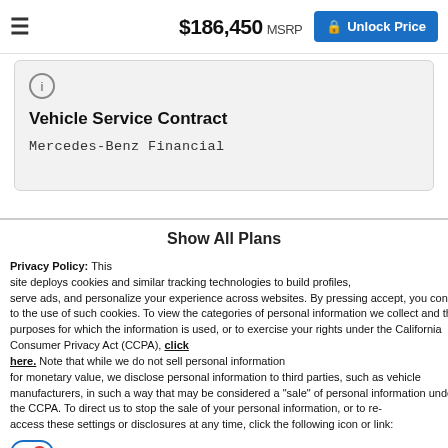$186,450 MSRP  Unlock Price
Vehicle Service Contract
Mercedes-Benz Financial
Show All Plans
Privacy Policy: This site deploys cookies and similar tracking technologies to build profiles, serve ads, and personalize your experience across websites. By pressing accept, you consent to the use of such cookies. To view the categories of personal information we collect and the purposes for which the information is used, or to exercise your rights under the California Consumer Privacy Act (CCPA), click here. Note that while we do not sell personal information for monetary value, we disclose personal information to third parties, such as vehicle manufacturers, in such a way that may be considered a "sale" of personal information under the CCPA. To direct us to stop the sale of your personal information, or to re-access these settings or disclosures at any time, click the following icon or link:
Do Not Sell My Personal Information
Language: English  Powered by ComplyAuto
Accept and Continue →   California Privacy Disclosures